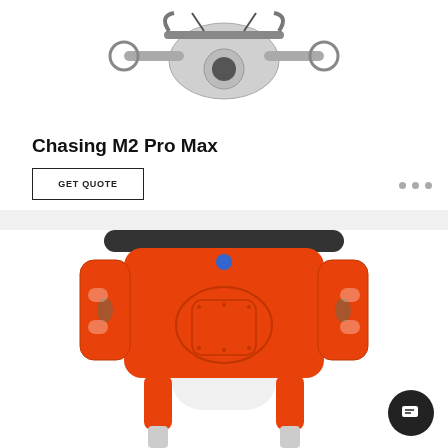[Figure (photo): Chasing M2 Pro Max underwater drone/ROV product photo, gray mechanical device with camera and thrusters, on white background, top portion cropped]
Chasing M2 Pro Max
GET QUOTE
[Figure (photo): Orange and black underwater ROV/drone product photo viewed from above, with thruster housings and structural frame visible, partially cropped at bottom]